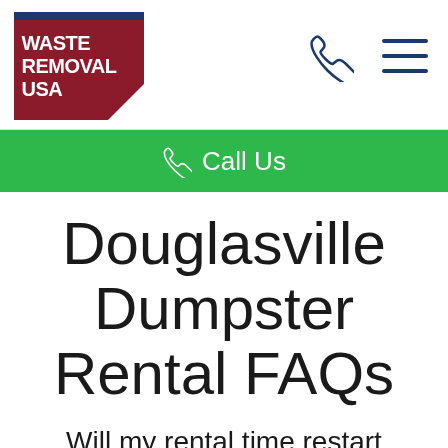[Figure (logo): Waste Removal USA logo — dark red box with white text 'WASTE REMOVAL USA', a blue stripe at the top, and a white triangle cutout at the bottom-right corner]
[Figure (other): Phone handset icon outline in dark navy, and a hamburger menu icon (three horizontal lines) in dark navy]
Call Us
Douglasville Dumpster Rental FAQs
Will my rental time restart when I swap out my dumpster in